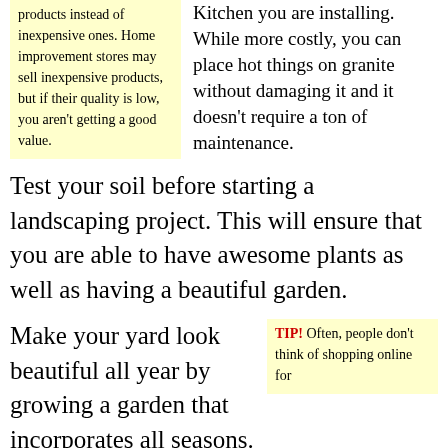products instead of inexpensive ones. Home improvement stores may sell inexpensive products, but if their quality is low, you aren't getting a good value.
Kitchen you are installing. While more costly, you can place hot things on granite without damaging it and it doesn't require a ton of maintenance.
Test your soil before starting a landscaping project. This will ensure that you are able to have awesome plants as well as having a beautiful garden.
Make your yard look beautiful all year by growing a garden that incorporates all seasons. Choose plants
TIP! Often, people don't think of shopping online for